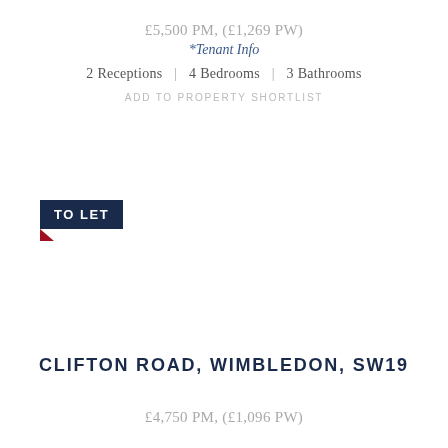£5,500 PM, (£1,269 PW)
*Tenant Info
2 Receptions  |  4 Bedrooms  |  3 Bathrooms
ADD TO PROPERTY SHORTLIST
[Figure (other): TO LET badge/label in dark navy blue with a red arrow pointer below]
CLIFTON ROAD, WIMBLEDON, SW19
£4,750 PM, (£1,096 PW)